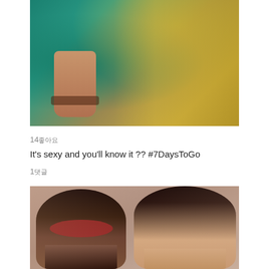[Figure (photo): Photo of a person in colorful traditional Indian attire, holding something, with teal/green background and golden fabric]
14좋아요
It's sexy and you'll know it ?? #7DaysToGo
1댓글
[Figure (photo): Photo of two people, a man with sunglasses and beard and a woman with elegant makeup, posed together]